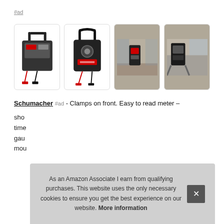#ad
[Figure (photo): Four product images of Schumacher battery chargers and related equipment shown in white-bordered cards]
Schumacher #ad - Clamps on front. Easy to read meter – sho... time... gau... mou...
As an Amazon Associate I earn from qualifying purchases. This website uses the only necessary cookies to ensure you get the best experience on our website. More information